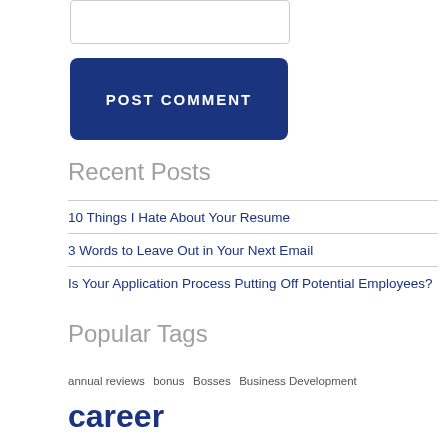[Figure (other): Text input box (form field)]
POST COMMENT
Recent Posts
10 Things I Hate About Your Resume
3 Words to Leave Out in Your Next Email
Is Your Application Process Putting Off Potential Employees?
Popular Tags
annual reviews  bonus  Bosses  Business Development  career advice  contract  attorney